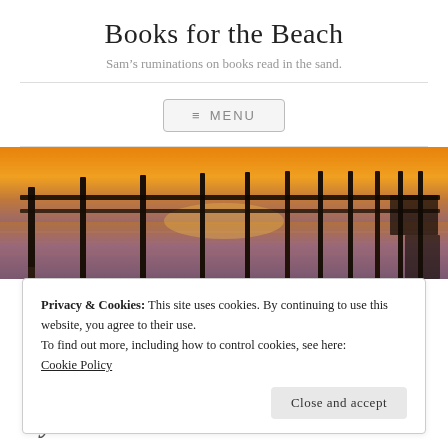Books for the Beach
Sam's ruminations on books read in the sand.
≡ MENU
[Figure (photo): Sunset beach pier photo showing wooden pilings in water with orange and purple sky]
Privacy & Cookies: This site uses cookies. By continuing to use this website, you agree to their use.
To find out more, including how to control cookies, see here:
Cookie Policy
Close and accept
by Josie Demiuth